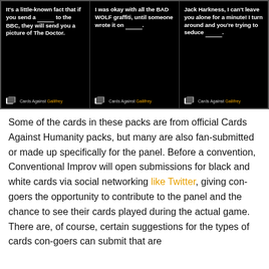[Figure (illustration): Three black Cards Against Gallifrey game cards side by side. Card 1: 'It's a little-known fact that if you send a ___ to the BBC, they will send you a picture of The Doctor.' Card 2: 'I was okay with all the BAD WOLF graffiti, until someone wrote it on ___.' Card 3: 'Jack Harkness, I can't leave you alone for a minute! I turn around and you're trying to seduce ___.' Each card has a Cards Against Gallifrey logo and branding at the bottom.]
Some of the cards in these packs are from official Cards Against Humanity packs, but many are also fan-submitted or made up specifically for the panel. Before a convention, Conventional Improv will open submissions for black and white cards via social networking like Twitter, giving con-goers the opportunity to contribute to the panel and the chance to see their cards played during the actual game. There are, of course, certain suggestions for the types of cards con-goers can submit that are